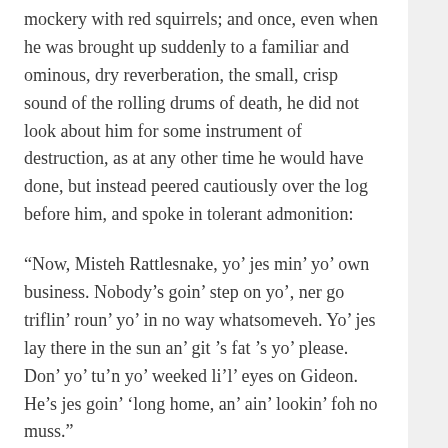mockery with red squirrels; and once, even when he was brought up suddenly to a familiar and ominous, dry reverberation, the small, crisp sound of the rolling drums of death, he did not look about him for some instrument of destruction, as at any other time he would have done, but instead peered cautiously over the log before him, and spoke in tolerant admonition:
“Now, Misteh Rattlesnake, yo’ jes min’ yo’ own business. Nobody’s goin’ step on yo’, ner go triflin’ roun’ yo’ in no way whatsomeveh. Yo’ jes lay there in the sun an’ git ’s fat ’s yo’ please. Don’ yo’ tu’n yo’ weeked li’l’ eyes on Gideon. He’s jes goin’ ‘long home, an’ ain’ lookin’ foh no muss.”
He came presently to the water, and, as luck would have it, to a little group of negro cabins, where he was able to buy old clothes and, after much dickering, a long and somewhat leaky rowboat rigged out with a tattered leg-of-mutton sail. This he